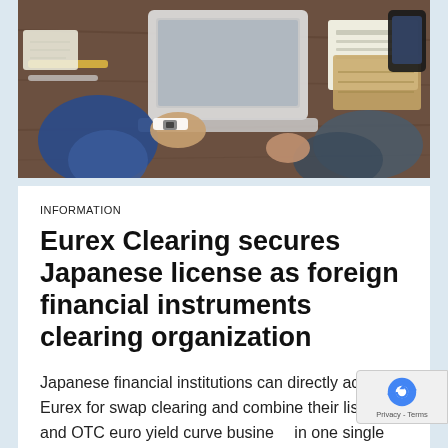[Figure (photo): Overhead view of two people in business attire working at a wooden desk with laptops, papers, a smartphone, and notebooks.]
INFORMATION
Eurex Clearing secures Japanese license as foreign financial instruments clearing organization
Japanese financial institutions can directly access Eurex for swap clearing and combine their listed and OTC euro yield curve business in one single place.